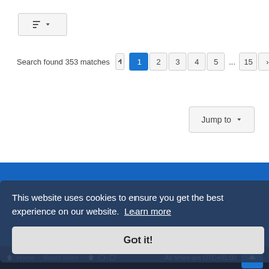[Figure (screenshot): Sort/filter button with dropdown arrow icon]
Search found 353 matches
1 2 3 4 5 ... 15 >
Jump to
[Figure (screenshot): Blue background section with social media icons (home, Twitter, YouTube, LinkedIn)]
This website uses cookies to ensure you get the best experience on our website. Learn more
Got it!
Home   Board index   All times are UTC+01:00
© 2022 Project Smart. All rights reserved